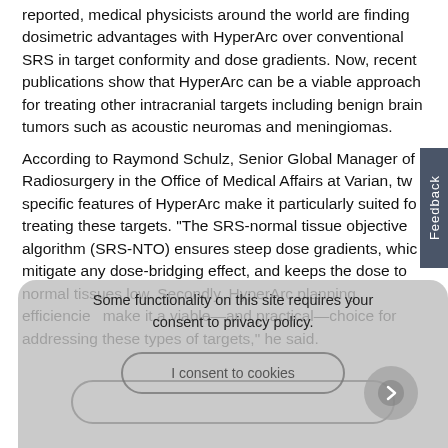reported, medical physicists around the world are finding dosimetric advantages with HyperArc over conventional SRS in target conformity and dose gradients. Now, recent publications show that HyperArc can be a viable approach for treating other intracranial targets including benign brain tumors such as acoustic neuromas and meningiomas.
According to Raymond Schulz, Senior Global Manager of Radiosurgery in the Office of Medical Affairs at Varian, two specific features of HyperArc make it particularly suited for treating these targets. "The SRS-normal tissue objective algorithm (SRS-NTO) ensures steep dose gradients, which mitigate any dose-bridging effect, and keeps the dose to normal tissues low. Secondly, HyperArc planning efficiencies make it a viable—and practical—choice for addressing these types of targets," he said.
Whole-Brain Radiotherapy with Hippocampal Sparing
One particularly interesting application of HyperArc is for patients who are receiving whole-brain radiotherapy (WBRT).